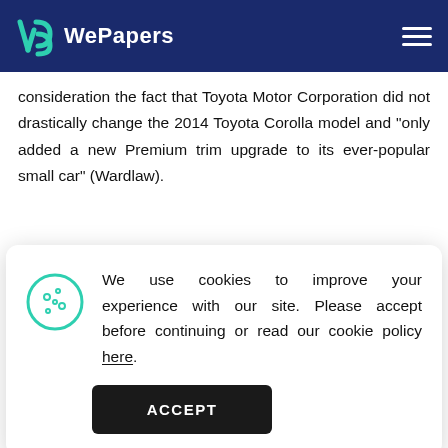WePapers
consideration the fact that Toyota Motor Corporation did not drastically change the 2014 Toyota Corolla model and “only added a new Premium trim upgrade to its ever-popular small car” (Wardlaw).
We use cookies to improve your experience with our site. Please accept before continuing or read our cookie policy here.
out of selling the new sedan models in the United States. Such a result was achieved, in particular, by choosing the right marketing campaign for the 2015 Toyota Corolla.